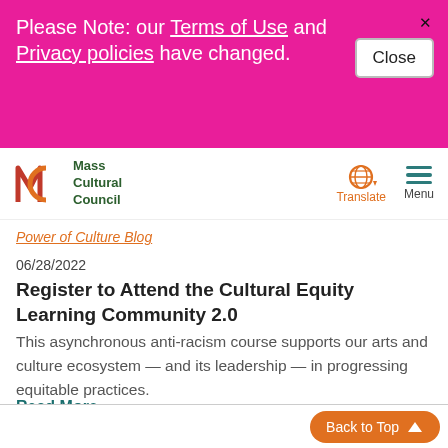Please Note: our Terms of Use and Privacy policies have changed.
[Figure (logo): Mass Cultural Council logo with MC initials and globe/menu nav icons]
Power of Culture Blog
06/28/2022
Register to Attend the Cultural Equity Learning Community 2.0
This asynchronous anti-racism course supports our arts and culture ecosystem — and its leadership — in progressing equitable practices.
Read More »
Back to Top